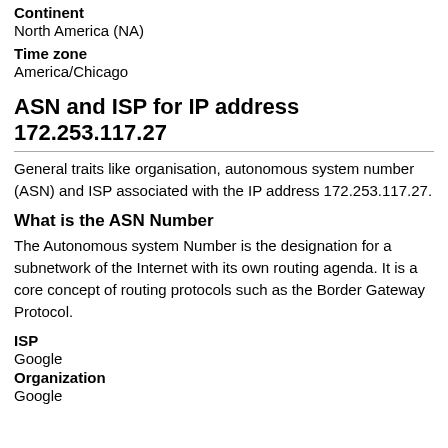Continent
North America (NA)
Time zone
America/Chicago
ASN and ISP for IP address 172.253.117.27
General traits like organisation, autonomous system number (ASN) and ISP associated with the IP address 172.253.117.27.
What is the ASN Number
The Autonomous system Number is the designation for a subnetwork of the Internet with its own routing agenda. It is a core concept of routing protocols such as the Border Gateway Protocol.
ISP
Google
Organization
Google